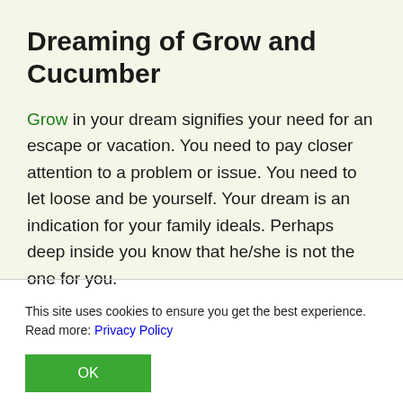Dreaming of Grow and Cucumber
Grow in your dream signifies your need for an escape or vacation. You need to pay closer attention to a problem or issue. You need to let loose and be yourself. Your dream is an indication for your family ideals. Perhaps deep inside you know that he/she is not the one for you.
This site uses cookies to ensure you get the best experience. Read more: Privacy Policy
OK